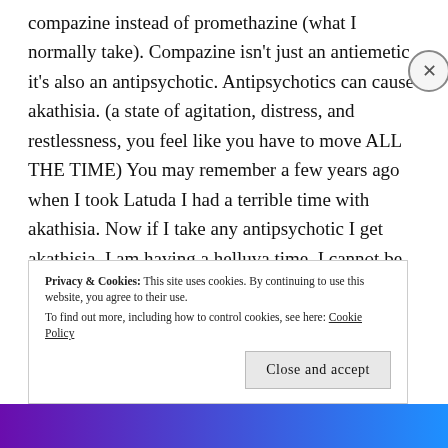compazine instead of promethazine (what I normally take). Compazine isn't just an antiemetic it's also an antipsychotic. Antipsychotics can cause akathisia. (a state of agitation, distress, and restlessness, you feel like you have to move ALL THE TIME) You may remember a few years ago when I took Latuda I had a terrible time with akathisia. Now if I take any antipsychotic I get akathisia. I am having a helluva time. I cannot be still. On top of it all, I'm having PTSD because of my past experience with this. I can't
Privacy & Cookies: This site uses cookies. By continuing to use this website, you agree to their use. To find out more, including how to control cookies, see here: Cookie Policy
Close and accept